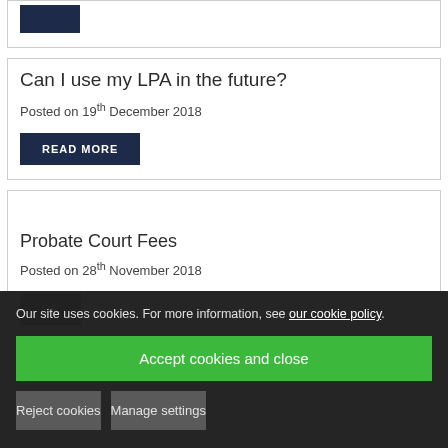[Figure (other): Dark navy blue button/banner at top of card]
Can I use my LPA in the future?
Posted on 19th December 2018
READ MORE
Probate Court Fees
Posted on 28th November 2018
RE...
Our site uses cookies. For more information, see our cookie policy.
Accept cookies and close
Reject cookies
Manage settings